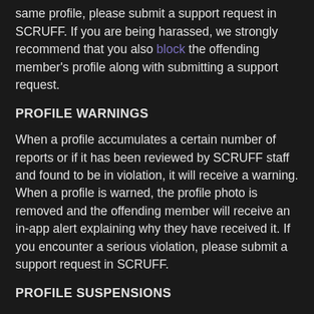encounter additional serious violations from the same profile, please submit a support request in SCRUFF. If you are being harassed, we strongly recommend that you also block the offending member's profile along with submitting a support request.
PROFILE WARNINGS
When a profile accumulates a certain number of reports or if it has been reviewed by SCRUFF staff and found to be in violation, it will receive a warning. When a profile is warned, the profile photo is removed and the offending member will receive an in-app alert explaining why they have received it. If you encounter a serious violation, please submit a support request in SCRUFF.
PROFILE SUSPENSIONS
When a profile has accumulated a certain number of